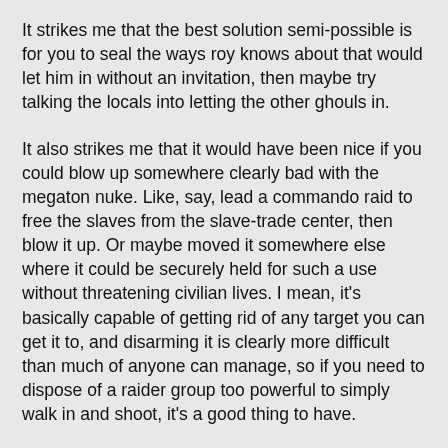It strikes me that the best solution semi-possible is for you to seal the ways roy knows about that would let him in without an invitation, then maybe try talking the locals into letting the other ghouls in.
It also strikes me that it would have been nice if you could blow up somewhere clearly bad with the megaton nuke. Like, say, lead a commando raid to free the slaves from the slave-trade center, then blow it up. Or maybe moved it somewhere else where it could be securely held for such a use without threatening civilian lives. I mean, it's basically capable of getting rid of any target you can get it to, and disarming it is clearly more difficult than much of anyone can manage, so if you need to dispose of a raider group too powerful to simply walk in and shoot, it's a good thing to have.
Yes, it might get misused. Then again, so might the weapons-grade plutonium in the bomb, so you haven't